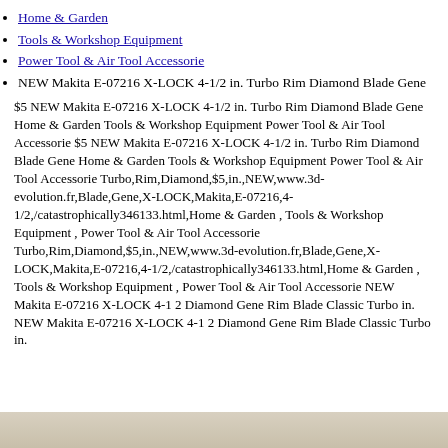Home & Garden
Tools & Workshop Equipment
Power Tool & Air Tool Accessorie
NEW Makita E-07216 X-LOCK 4-1/2 in. Turbo Rim Diamond Blade Gene
$5 NEW Makita E-07216 X-LOCK 4-1/2 in. Turbo Rim Diamond Blade Gene Home & Garden Tools & Workshop Equipment Power Tool & Air Tool Accessorie $5 NEW Makita E-07216 X-LOCK 4-1/2 in. Turbo Rim Diamond Blade Gene Home & Garden Tools & Workshop Equipment Power Tool & Air Tool Accessorie Turbo,Rim,Diamond,$5,in.,NEW,www.3d-evolution.fr,Blade,Gene,X-LOCK,Makita,E-07216,4-1/2,/catastrophically346133.html,Home & Garden , Tools & Workshop Equipment , Power Tool & Air Tool Accessorie Turbo,Rim,Diamond,$5,in.,NEW,www.3d-evolution.fr,Blade,Gene,X-LOCK,Makita,E-07216,4-1/2,/catastrophically346133.html,Home & Garden , Tools & Workshop Equipment , Power Tool & Air Tool Accessorie NEW Makita E-07216 X-LOCK 4-1 2 Diamond Gene Rim Blade Classic Turbo in. NEW Makita E-07216 X-LOCK 4-1 2 Diamond Gene Rim Blade Classic Turbo in.
[Figure (photo): A light beige/tan colored strip or image at the bottom of the page.]